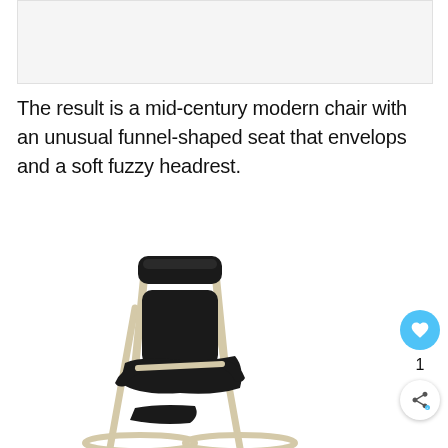[Figure (photo): Partial cropped image at top of page, light gray background, appears to be top portion of chair or similar product image]
The result is a mid-century modern chair with an unusual funnel-shaped seat that envelops and a soft fuzzy headrest.
[Figure (photo): Photo of a mid-century modern rocking chair with black upholstery and light wood/beige frame, featuring a funnel-shaped seat, armrests, and a soft fuzzy headrest. The chair is shown at an angle against a white background.]